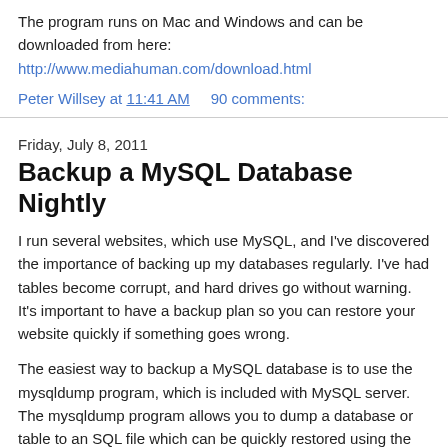The program runs on Mac and Windows and can be downloaded from here:
http://www.mediahuman.com/download.html
Peter Willsey at 11:41 AM     90 comments:
Friday, July 8, 2011
Backup a MySQL Database Nightly
I run several websites, which use MySQL, and I've discovered the importance of backing up my databases regularly. I've had tables become corrupt, and hard drives go without warning. It's important to have a backup plan so you can restore your website quickly if something goes wrong.
The easiest way to backup a MySQL database is to use the mysqldump program, which is included with MySQL server. The mysqldump program allows you to dump a database or table to an SQL file which can be quickly restored using the MySQL command line client. You can ensure your backup is executed on a regular basis using the crontab.